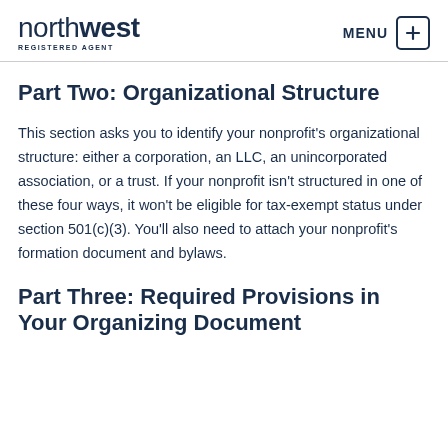northwest REGISTERED AGENT | MENU
Part Two: Organizational Structure
This section asks you to identify your nonprofit's organizational structure: either a corporation, an LLC, an unincorporated association, or a trust. If your nonprofit isn't structured in one of these four ways, it won't be eligible for tax-exempt status under section 501(c)(3). You'll also need to attach your nonprofit's formation document and bylaws.
Part Three: Required Provisions in Your Organizing Document